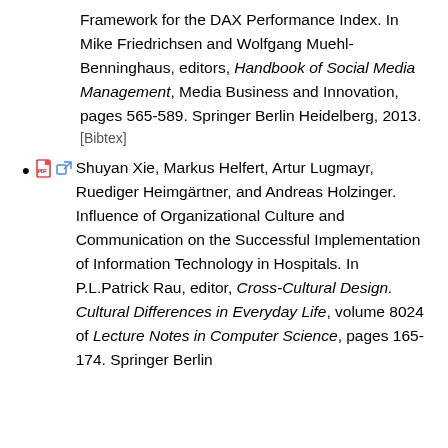Framework for the DAX Performance Index. In Mike Friedrichsen and Wolfgang Muehl-Benninghaus, editors, Handbook of Social Media Management, Media Business and Innovation, pages 565-589. Springer Berlin Heidelberg, 2013.
[Bibtex]
Shuyan Xie, Markus Helfert, Artur Lugmayr, Ruediger Heimgärtner, and Andreas Holzinger. Influence of Organizational Culture and Communication on the Successful Implementation of Information Technology in Hospitals. In P.L.Patrick Rau, editor, Cross-Cultural Design. Cultural Differences in Everyday Life, volume 8024 of Lecture Notes in Computer Science, pages 165-174. Springer Berlin Heidelberg, 2013.